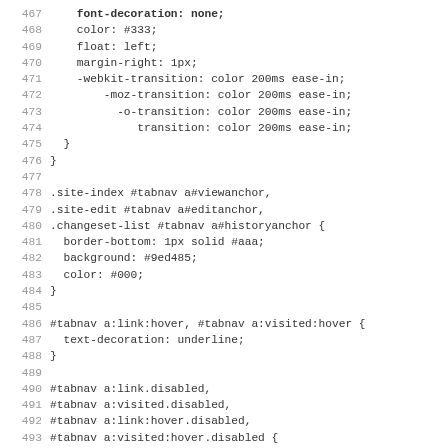Code listing lines 467-499, CSS source code showing tab navigation styles